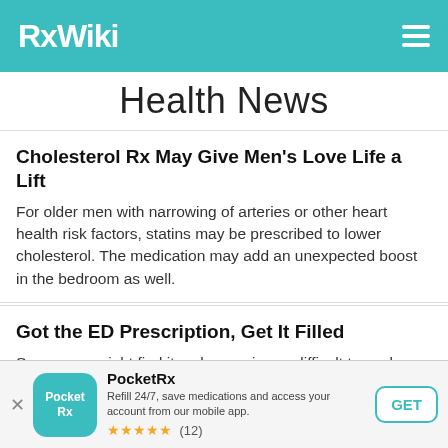RxWiki
Health News
Cholesterol Rx May Give Men's Love Life a Lift
For older men with narrowing of arteries or other heart health risk factors, statins may be prescribed to lower cholesterol. The medication may add an unexpected boost in the bedroom as well.
Got the ED Prescription, Get It Filled
Some men might find it embarrassing or difficult to seek treatment for sexual problems. Though a lot of men with erectile dysfunction make it to the doctor for help, only a few actually take it to the next step.
PocketRx
Refill 24/7, save medications and access your account from our mobile app.
★★★★★ (12)